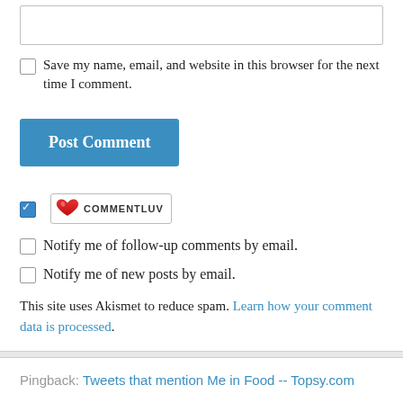Save my name, email, and website in this browser for the next time I comment.
Post Comment
[Figure (other): CommentLuv badge with heart logo]
Notify me of follow-up comments by email.
Notify me of new posts by email.
This site uses Akismet to reduce spam. Learn how your comment data is processed.
Pingback: Tweets that mention Me in Food -- Topsy.com